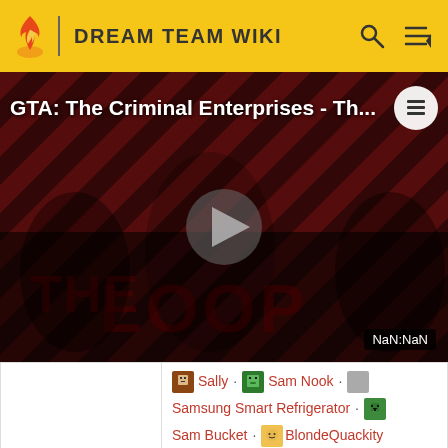DREAM TEAM WIKI
[Figure (screenshot): Video thumbnail for 'GTA: The Criminal Enterprises - Th...' showing characters in front of a red diagonal striped background with THE LOOP text. A play button is visible in center. NaN:NaN timestamp shown.]
|  | Characters |
| --- | --- |
|  | Sally · Sam Nook · Samsung Smart Refrigerator · Sam Bucket · BlondeQuackity |
| Former characters | Alyssa · Manatreed |
| Guests (whitelisted) | Ninja · Andrea Botez · Pokimane · Corpse Husband |